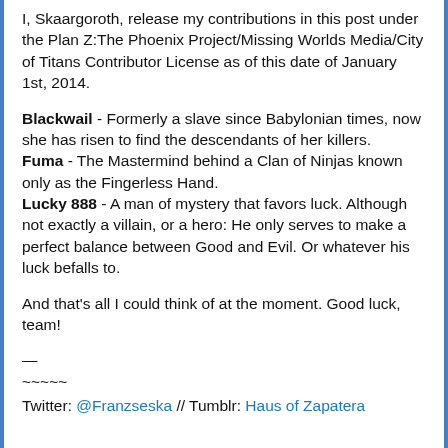I, Skaargoroth, release my contributions in this post under the Plan Z:The Phoenix Project/Missing Worlds Media/City of Titans Contributor License as of this date of January 1st, 2014.
Blackwail - Formerly a slave since Babylonian times, now she has risen to find the descendants of her killers. Fuma - The Mastermind behind a Clan of Ninjas known only as the Fingerless Hand. Lucky 888 - A man of mystery that favors luck. Although not exactly a villain, or a hero: He only serves to make a perfect balance between Good and Evil. Or whatever his luck befalls to.
And that's all I could think of at the moment. Good luck, team!
—
~~~~~
Twitter: @Franzseska // Tumblr: Haus of Zapatera